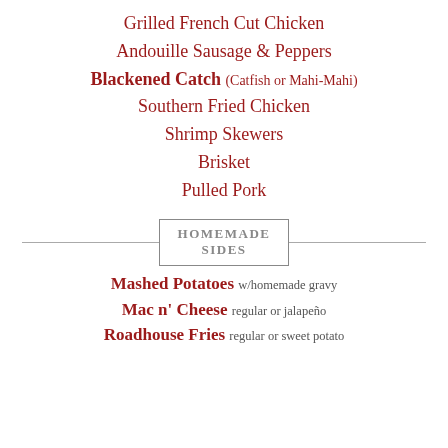Grilled French Cut Chicken
Andouille Sausage & Peppers
Blackened Catch (Catfish or Mahi-Mahi)
Southern Fried Chicken
Shrimp Skewers
Brisket
Pulled Pork
HOMEMADE SIDES
Mashed Potatoes w/homemade gravy
Mac n' Cheese regular or jalapeño
Roadhouse Fries regular or sweet potato